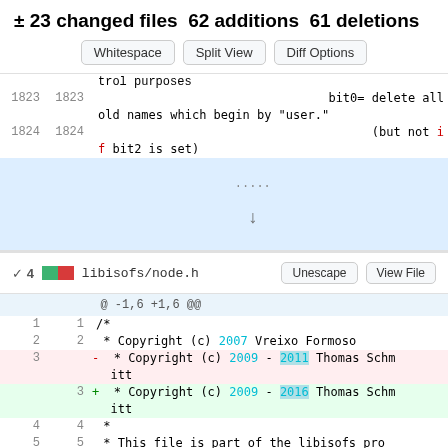± 23 changed files 62 additions 61 deletions
Whitespace | Split View | Diff Options
trol purposes
1823  1823  bit0= delete all
old names which begin by "user."
1824  1824  (but not i
f bit2 is set)
∨ 4  libisofs/node.h  Unescape  View File
@ -1,6 +1,6 @@
1  1  /*
2  2   * Copyright (c) 2007 Vreixo Formoso
3     -  * Copyright (c) 2009 - 2011 Thomas Schmitt
   3  +  * Copyright (c) 2009 - 2016 Thomas Schmitt
4  4   *
5  5   * This file is part of the libisofs pro